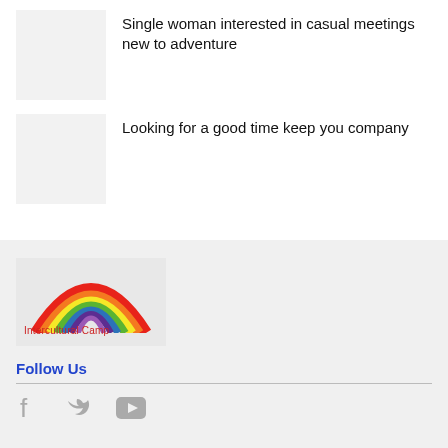Single woman interested in casual meetings new to adventure
Looking for a good time keep you company
[Figure (logo): Intercultural Camp logo with rainbow arch and colorful stripes]
Follow Us
[Figure (infographic): Social media icons: Facebook, Twitter, YouTube in grey]